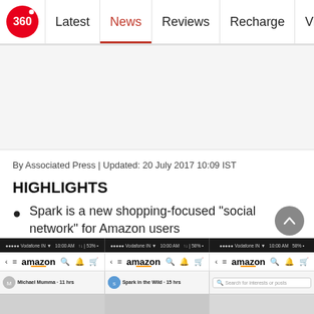Latest | News | Reviews | Recharge | Videos | M
[Figure (screenshot): Gadgets 360 website navigation bar with logo and menu items: Latest, News (active), Reviews, Recharge, Videos, M]
[Figure (photo): Advertisement or image placeholder area (light gray)]
By Associated Press | Updated: 20 July 2017 10:09 IST
HIGHLIGHTS
Spark is a new shopping-focused "social network" for Amazon users
It's only available to Prime members
Spark lets users share photo-heavy posts about their interests
[Figure (screenshot): Three smartphone screens showing Amazon app with Spark social feed, including status bars, Amazon navigation bars, and Spark feed items with user profiles including Michael Mumma and Spark in the Wild]